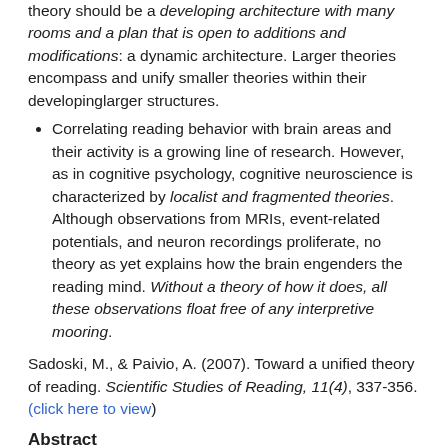theory should be a developing architecture with many rooms and a plan that is open to additions and modifications: a dynamic architecture. Larger theories encompass and unify smaller theories within their developinglarger structures.
Correlating reading behavior with brain areas and their activity is a growing line of research. However, as in cognitive psychology, cognitive neuroscience is characterized by localist and fragmented theories. Although observations from MRIs, event-related potentials, and neuron recordings proliferate, no theory as yet explains how the brain engenders the reading mind. Without a theory of how it does, all these observations float free of any interpretive mooring.
Sadoski, M., & Paivio, A. (2007). Toward a unified theory of reading. Scientific Studies of Reading, 11(4), 337-356. (click here to view)
Abstract
Despite nearly 40 years of scientific theorizing about reading, the field remains fragmented with little progress toward